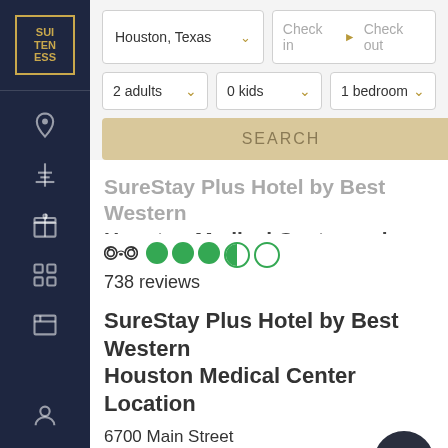[Figure (logo): Suiteness logo in a gold bordered box on dark navy sidebar]
[Figure (screenshot): Hotel booking website UI with search fields for location, check-in, check-out, adults, kids, bedroom, and a Search button]
SureStay Plus Hotel by Best Western Houston Medical Center reviews
738 reviews
SureStay Plus Hotel by Best Western Houston Medical Center Location
6700 Main Street
Houston, TX 77030 US
1 (855) 282-1325